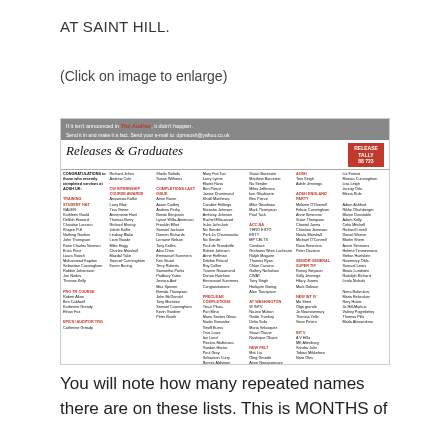AT SAINT HILL.
(Click on image to enlarge)
[Figure (other): Newspaper clipping showing 'Releases & Graduates' section with header 'If it isn't announced in The Auditor, it didn't happen. Send it in and make it a fact. Send your e-mail to: dprnaosh@yahoo.co.uk'. Contains multiple columns of names under congratulatory text about completed services at AOSH UK. Release Tally 88 723 shown in red box.]
You will note how many repeated names there are on these lists. This is MONTHS of